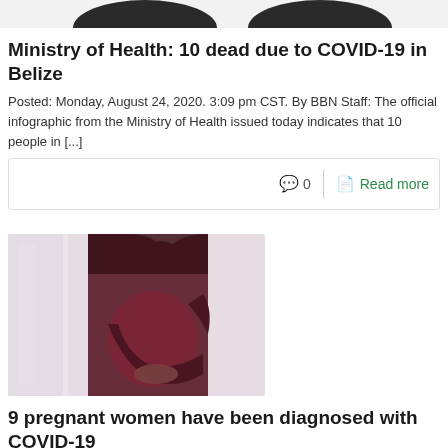[Figure (photo): Partial top image showing silhouettes, cropped at the top of the page]
Ministry of Health: 10 dead due to COVID-19 in Belize
Posted: Monday, August 24, 2020. 3:09 pm CST. By BBN Staff: The official infographic from the Ministry of Health issued today indicates that 10 people in [...]
0   Read more
[Figure (photo): Photo of a pregnant woman in a dark red/maroon dress, side profile, cradling her baby bump with both hands, with a soft light background]
9 pregnant women have been diagnosed with COVID-19
Posted: Monday, August 24, 2020. 2:45 pm CST. By Aaron Humes: A